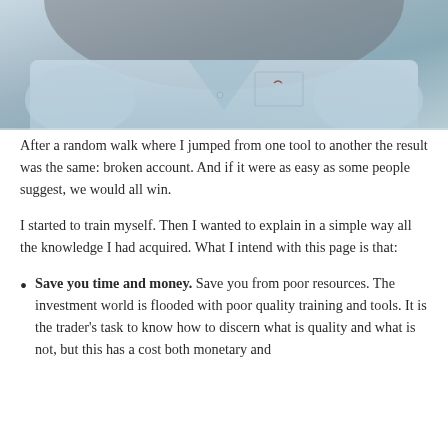[Figure (photo): Person in a light blue button-up shirt with a chest pocket featuring a small logo, arms crossed, photographed from chest up with a dark background.]
After a random walk where I jumped from one tool to another the result was the same: broken account. And if it were as easy as some people suggest, we would all win.
I started to train myself. Then I wanted to explain in a simple way all the knowledge I had acquired. What I intend with this page is that:
Save you time and money. Save you from poor resources. The investment world is flooded with poor quality training and tools. It is the trader's task to know how to discern what is quality and what is not, but this has a cost both monetary and